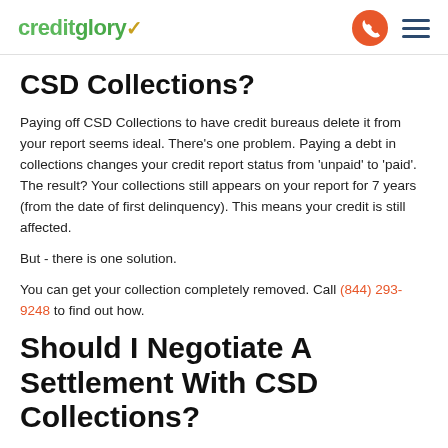creditglory
CSD Collections?
Paying off CSD Collections to have credit bureaus delete it from your report seems ideal. There's one problem. Paying a debt in collections changes your credit report status from 'unpaid' to 'paid'. The result? Your collections still appears on your report for 7 years (from the date of first delinquency). This means your credit is still affected.
But - there is one solution.
You can get your collection completely removed. Call (844) 293-9248 to find out how.
Should I Negotiate A Settlement With CSD Collections?